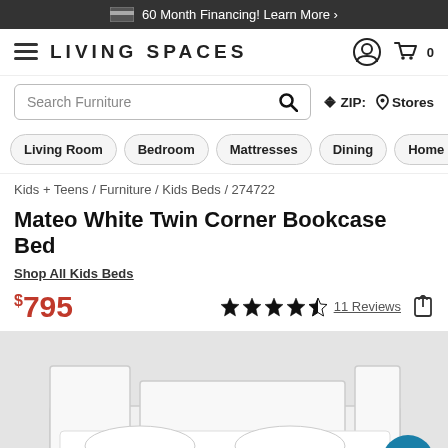60 Month Financing! Learn More ›
[Figure (logo): Living Spaces logo with hamburger menu, user icon, and cart icon showing 0 items]
Search Furniture
ZIP:    Stores
Living Room   Bedroom   Mattresses   Dining   Home Office   Ki…
Kids + Teens / Furniture / Kids Beds / 274722
Mateo White Twin Corner Bookcase Bed
Shop All Kids Beds
$795   ★★★★½  11 Reviews
[Figure (photo): Product photo of white twin corner bookcase bed on light gray background]